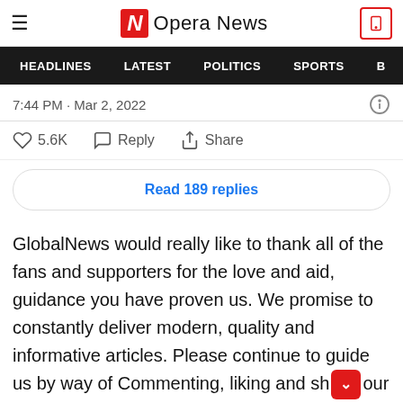Opera News
HEADLINES  LATEST  POLITICS  SPORTS
7:44 PM · Mar 2, 2022
5.6K   Reply   Share
Read 189 replies
GlobalNews would really like to thank all of the fans and supporters for the love and aid, guidance you have proven us. We promise to constantly deliver modern, quality and informative articles. Please continue to guide us by way of Commenting, liking and sh[aring] our posts with other